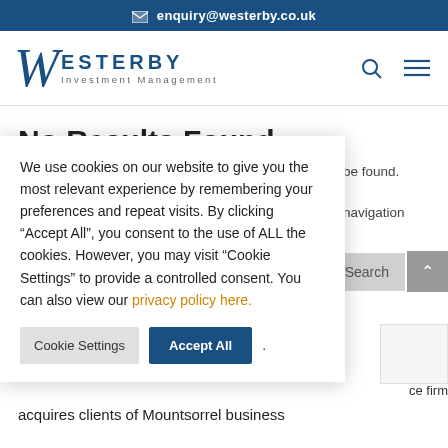enquiry@westerby.co.uk
[Figure (logo): Westerby Investment Management logo with stylized W in navy blue]
No Results Found
We use cookies on our website to give you the most relevant experience by remembering your preferences and repeat visits. By clicking “Accept All”, you consent to the use of ALL the cookies. However, you may visit "Cookie Settings" to provide a controlled consent. You can also view our privacy policy here.
be found. navigation
ce firm
acquires clients of Mountsorrel business